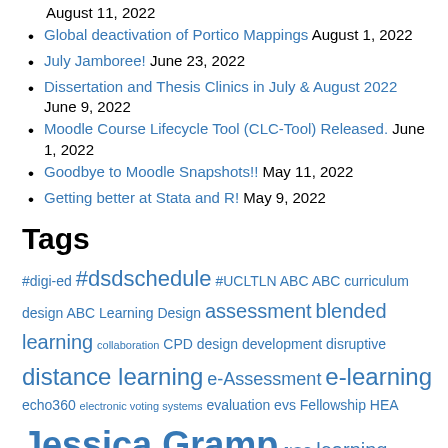August 11, 2022
Global deactivation of Portico Mappings August 1, 2022
July Jamboree! June 23, 2022
Dissertation and Thesis Clinics in July & August 2022 June 9, 2022
Moodle Course Lifecycle Tool (CLC-Tool) Released. June 1, 2022
Goodbye to Moodle Snapshots!! May 11, 2022
Getting better at Stata and R! May 9, 2022
Tags
#digi-ed #dsdschedule #UCLTLN ABC ABC curriculum design ABC Learning Design assessment blended learning collaboration CPD design development disruptive distance learning e-Assessment e-learning echo360 electronic voting systems evaluation evs Fellowship HEA Jessica Gramp JISC learning lecture